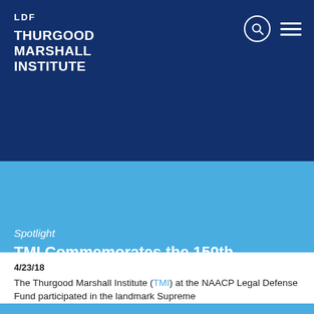LDF THURGOOD MARSHALL INSTITUTE
Spotlight
TMI Commemorates the 150th Anniversary of the 14th Amendment
4/23/18
The Thurgood Marshall Institute (TMI) at the NAACP Legal Defense Fund participated in the landmark Supreme...